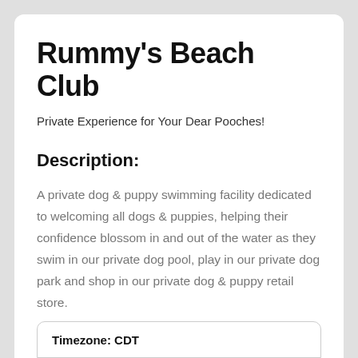Rummy's Beach Club
Private Experience for Your Dear Pooches!
Description:
A private dog & puppy swimming facility dedicated to welcoming all dogs & puppies, helping their confidence blossom in and out of the water as they swim in our private dog pool, play in our private dog park and shop in our private dog & puppy retail store.
| Timezone: CDT |
| --- |